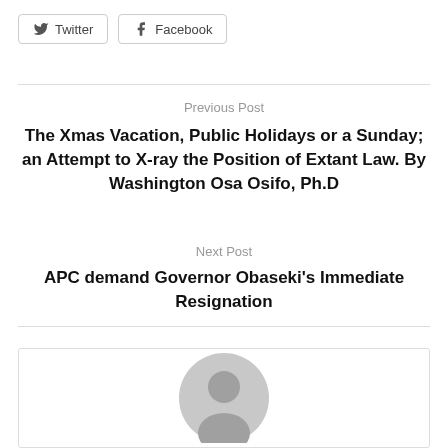[Figure (other): Twitter social share button with bird icon]
[Figure (other): Facebook social share button with f icon]
Previous Post
The Xmas Vacation, Public Holidays or a Sunday; an Attempt to X-ray the Position of Extant Law. By Washington Osa Osifo, Ph.D
Next Post
APC demand Governor Obaseki’s Immediate Resignation
[Figure (illustration): Generic user avatar placeholder icon (grey silhouette of a person)]